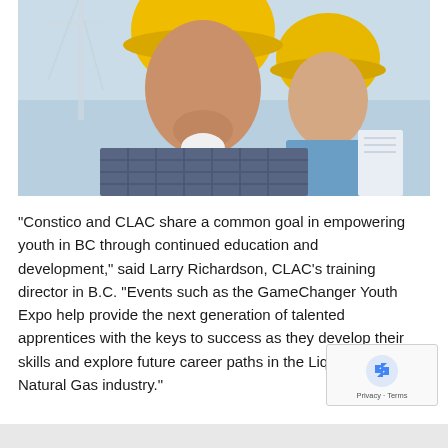[Figure (photo): Two men wearing yellow hard hats at a construction site. The man in the foreground wears a blue plaid shirt and looks upward. The man in the background wears a light-colored jacket and holds blueprints, also looking upward. Construction crane visible in background.]
“Constico and CLAC share a common goal in empowering youth in BC through continued education and development,” said Larry Richardson, CLAC’s training director in B.C. “Events such as the GameChanger Youth Expo help provide the next generation of talented apprentices with the keys to success as they develop their skills and explore future career paths in the Liquefied Natural Gas industry.”